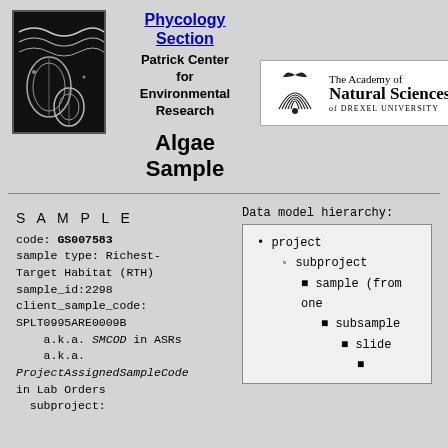[Figure (logo): Black and white microscopic algae/diatom image used as logo]
Phycology Section
Patrick Center for Environmental Research
[Figure (logo): The Academy of Natural Sciences of Drexel University logo with emblem]
Algae Sample
S A M P L E
code: GS007583
sample type: Richest-Target Habitat (RTH)
sample_id:2298
client_sample_code: SPLT0995ARE0009B
a.k.a. SMCOD in ASRs
a.k.a. ProjectAssignedSampleCode in Lab Orders
subproject:
Data model hierarchy:
project
subproject
sample (from one
subsample
slide